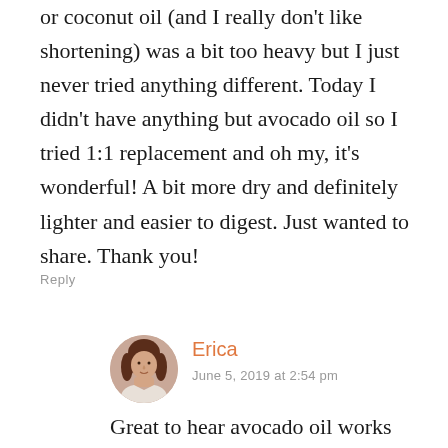or coconut oil (and I really don't like shortening) was a bit too heavy but I just never tried anything different. Today I didn't have anything but avocado oil so I tried 1:1 replacement and oh my, it's wonderful! A bit more dry and definitely lighter and easier to digest. Just wanted to share. Thank you!
Reply
[Figure (photo): Circular avatar photo of a woman with dark hair, serving as profile picture for commenter Erica]
Erica
June 5, 2019 at 2:54 pm
Great to hear avocado oil works well!